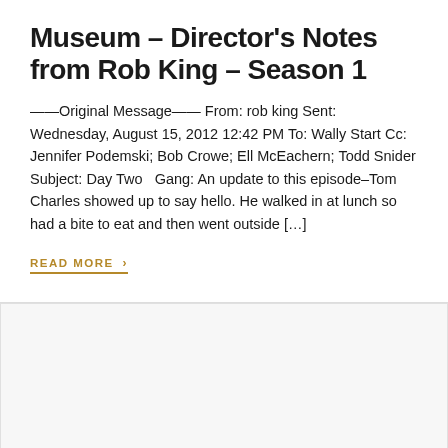Museum – Director's Notes from Rob King – Season 1
——Original Message—— From: rob king Sent: Wednesday, August 15, 2012 12:42 PM To: Wally Start Cc: Jennifer Podemski; Bob Crowe; Ell McEachern; Todd Snider Subject: Day Two   Gang: An update to this episode–Tom Charles showed up to say hello. He walked in at lunch so had a bite to eat and then went outside […]
READ MORE ›